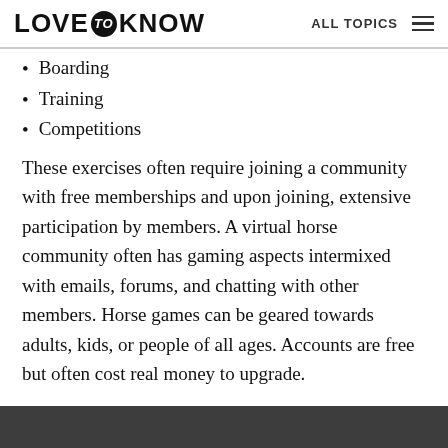LOVE to KNOW | ALL TOPICS
Boarding
Training
Competitions
These exercises often require joining a community with free memberships and upon joining, extensive participation by members. A virtual horse community often has gaming aspects intermixed with emails, forums, and chatting with other members. Horse games can be geared towards adults, kids, or people of all ages. Accounts are free but often cost real money to upgrade.